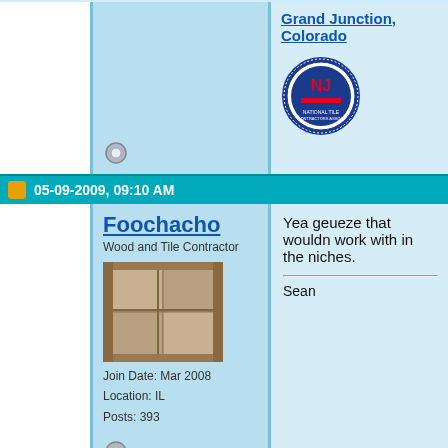Grand Junction, Colorado
[Figure (photo): NTCA (National Tile Contractors Association) badge/logo — circular blue and red seal]
05-09-2009, 09:10 AM
Foochacho
Wood and Tile Contractor
[Figure (photo): Avatar image showing a tiled floor/staircase with wood and tile work]
Join Date: Mar 2008
Location: IL
Posts: 393
Yea geueze that wouldn work with in the niches.
Sean
05-09-2009, 01:31 PM
tiredguy
Registered User
I keep waiting for some feelings.